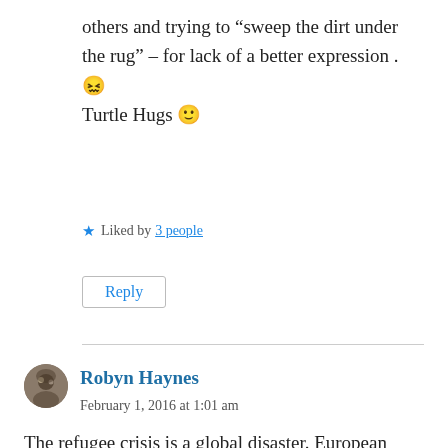others and trying to “sweep the dirt under the rug” – for lack of a better expression . 😕 Turtle Hugs 🙂
★ Liked by 3 people
Reply
Robyn Haynes
February 1, 2016 at 1:01 am
The refugee crisis is a global disaster. European countries are suffering the brunt and people who are fleeing the turmoil are losing their lives. I feel for the Greek people – always